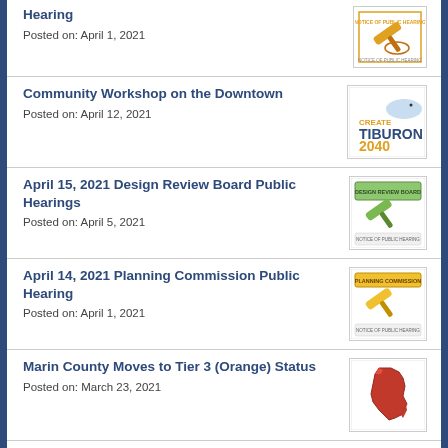Hearing
Posted on: April 1, 2021
Community Workshop on the Downtown
Posted on: April 12, 2021
April 15, 2021 Design Review Board Public Hearings
Posted on: April 5, 2021
April 14, 2021 Planning Commission Public Hearing
Posted on: April 1, 2021
Marin County Moves to Tier 3 (Orange) Status
Posted on: March 23, 2021
General Plan Community Workshop: Safety, Parks, Open Space